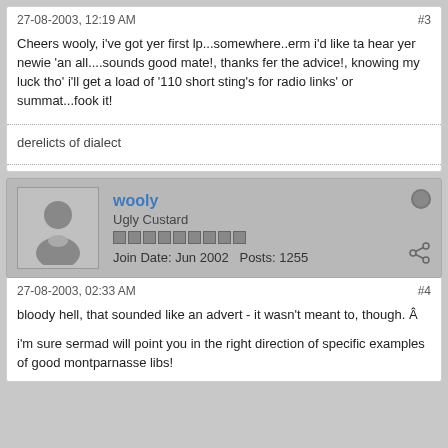27-08-2003, 12:19 AM
#3
Cheers wooly, i&#39;ve got yer first lp...somewhere..erm i&#39;d like ta hear yer newie &#39;an all....sounds good mate&#33;, thanks fer the advice&#33;, knowing my luck tho&#39; i&#39;ll get a load of &#39;110 short sting&#39;s for radio links&#39; or summat...fook it&#33;
derelicts of dialect
wooly
Ugly Custard
Join Date: Jun 2002   Posts: 1255
27-08-2003, 02:33 AM
#4
bloody hell, that sounded like an advert - it wasn&#39;t meant to, though. Â
i&#39;m sure sermad will point you in the right direction of specific examples of good montparnasse libs&#33;